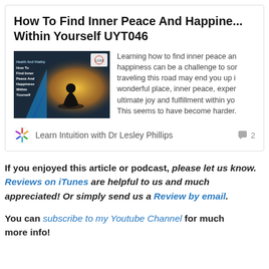How To Find Inner Peace And Happiness Within Yourself UYT046
[Figure (illustration): Podcast thumbnail showing a silhouette of a person meditating against a glowing background with blue geometric shapes and text 'Health And Vitality: How To Find Inner Peace And Happiness Within Yourself']
Learning how to find inner peace and happiness can be a challenge to some. traveling this road may end you up in a wonderful place, inner peace, exper... ultimate joy and fulfillment within yo... This seems to have become harder.
Learn Intuition with Dr Lesley Phillips
If you enjoyed this article or podcast, please let us know. Reviews on iTunes are helpful to us and much appreciated! Or simply send us a Review by email.
You can subscribe to my Youtube Channel for much more info!